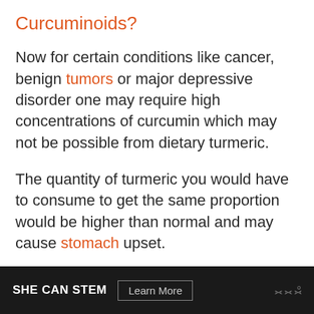Curcuminoids?
Now for certain conditions like cancer, benign tumors or major depressive disorder one may require high concentrations of curcumin which may not be possible from dietary turmeric.
The quantity of turmeric you would have to consume to get the same proportion would be higher than normal and may cause stomach upset.
SHE CAN STEM  Learn More